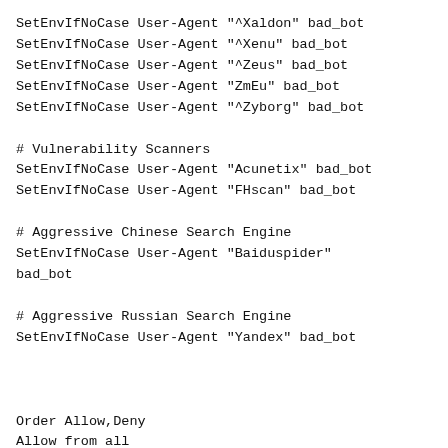SetEnvIfNoCase User-Agent "^Xaldon" bad_bot
SetEnvIfNoCase User-Agent "^Xenu" bad_bot
SetEnvIfNoCase User-Agent "^Zeus" bad_bot
SetEnvIfNoCase User-Agent "ZmEu" bad_bot
SetEnvIfNoCase User-Agent "^Zyborg" bad_bot

# Vulnerability Scanners
SetEnvIfNoCase User-Agent "Acunetix" bad_bot
SetEnvIfNoCase User-Agent "FHscan" bad_bot

# Aggressive Chinese Search Engine
SetEnvIfNoCase User-Agent "Baiduspider"
bad_bot

# Aggressive Russian Search Engine
SetEnvIfNoCase User-Agent "Yandex" bad_bot



Order Allow,Deny
Allow from all

# Cyveillance
deny from 38.100.19.8/29
deny from 38.100.21.0/24